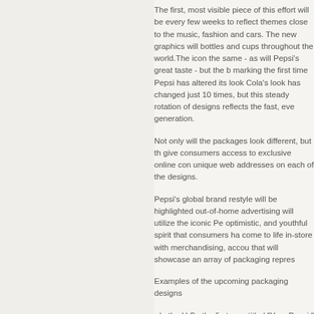The first, most visible piece of this effort will be every few weeks to reflect themes close to the music, fashion and cars. The new graphics will bottles and cups throughout the world.The icon the same - as will Pepsi's great taste - but the b marking the first time Pepsi has altered its look Cola's look has changed just 10 times, but this steady rotation of designs reflects the fast, eve generation.
Not only will the packages look different, but th give consumers access to exclusive online con unique web addresses on each of the designs.
Pepsi's global brand restyle will be highlighted out-of-home advertising will utilize the iconic Pe optimistic, and youthful spirit that consumers ha come to life in-store with merchandising, accou that will showcase an array of packaging repres
Examples of the upcoming packaging designs
• In the U.S., the first can, titled "Your Pepsi," w design a Pepsi billboard ad which will run in Ne
• Consumers in the U.S. will also have a chanc driver, Jeff Gordon's car that will race later this